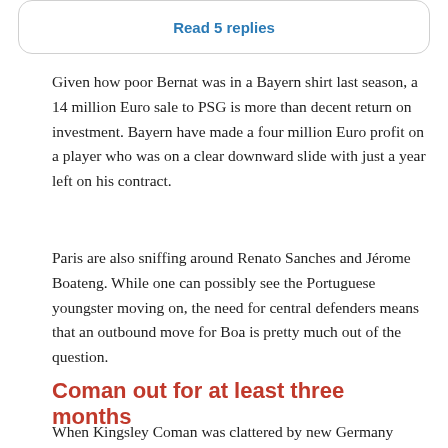Read 5 replies
Given how poor Bernat was in a Bayern shirt last season, a 14 million Euro sale to PSG is more than decent return on investment. Bayern have made a four million Euro profit on a player who was on a clear downward slide with just a year left on his contract.
Paris are also sniffing around Renato Sanches and Jérome Boateng. While one can possibly see the Portuguese youngster moving on, the need for central defenders means that an outbound move for Boa is pretty much out of the question.
Coman out for at least three months
When Kingsley Coman was clattered by new Germany squad